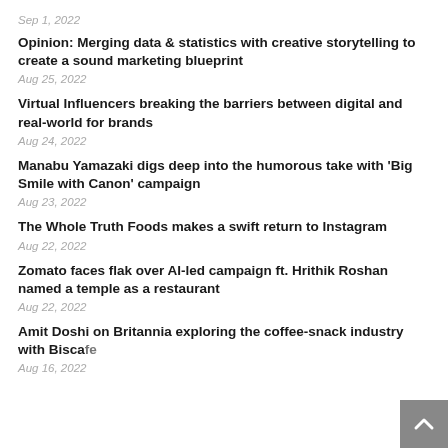Sep 1, 2022
Opinion: Merging data & statistics with creative storytelling to create a sound marketing blueprint
Aug 25, 2022
Virtual Influencers breaking the barriers between digital and real-world for brands
Aug 24, 2022
Manabu Yamazaki digs deep into the humorous take with 'Big Smile with Canon' campaign
Aug 23, 2022
The Whole Truth Foods makes a swift return to Instagram
Aug 22, 2022
Zomato faces flak over AI-led campaign ft. Hrithik Roshan named a temple as a restaurant
Aug 22, 2022
Amit Doshi on Britannia exploring the coffee-snack industry with Biscafe
Aug 16, 2022